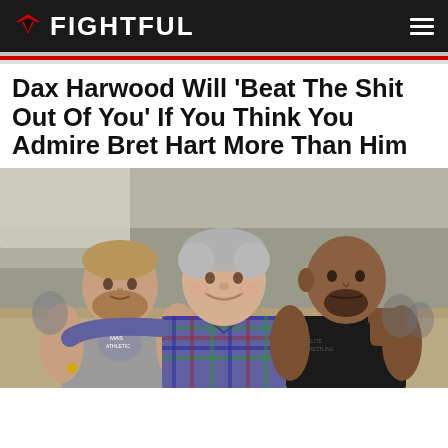FIGHTFUL
Dax Harwood Will 'Beat The Shit Out Of You' If You Think You Admire Bret Hart More Than Him
[Figure (photo): Three men posing together at what appears to be a wrestling or MMA event venue. Left: muscular man in gray sleeveless hoodie with beard. Center: older man with gray hair in plaid shirt smiling. Right: bald muscular man in black t-shirt with fist raised.]